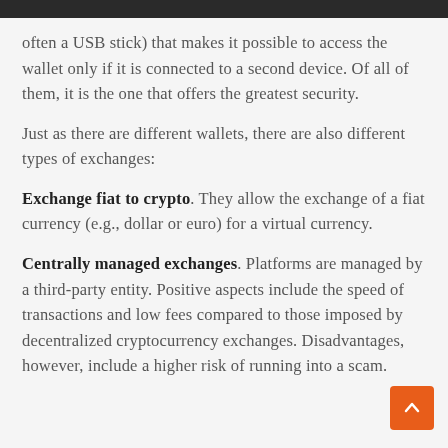often a USB stick) that makes it possible to access the wallet only if it is connected to a second device. Of all of them, it is the one that offers the greatest security.
Just as there are different wallets, there are also different types of exchanges:
Exchange fiat to crypto. They allow the exchange of a fiat currency (e.g., dollar or euro) for a virtual currency.
Centrally managed exchanges. Platforms are managed by a third-party entity. Positive aspects include the speed of transactions and low fees compared to those imposed by decentralized cryptocurrency exchanges. Disadvantages, however, include a higher risk of running into a scam.